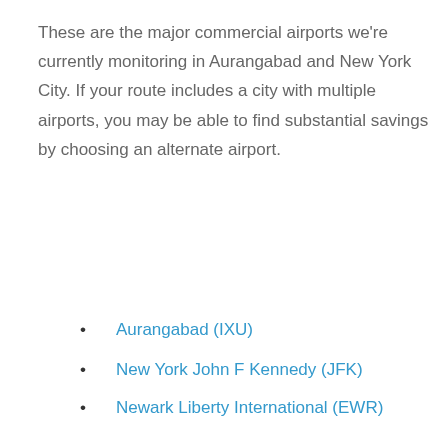These are the major commercial airports we're currently monitoring in Aurangabad and New York City. If your route includes a city with multiple airports, you may be able to find substantial savings by choosing an alternate airport.
Aurangabad (IXU)
New York John F Kennedy (JFK)
Newark Liberty International (EWR)
New York LaGuardia (LGA)
Farecompare Research Tools